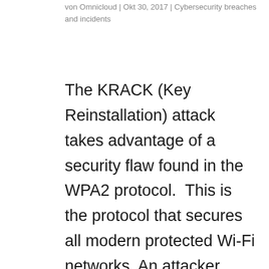von Omnicloud | Okt 30, 2017 | Cybersecurity breaches and incidents
The KRACK (Key Reinstallation) attack takes advantage of a security flaw found in the WPA2 protocol.  This is the protocol that secures all modern protected Wi-Fi networks. An attacker within range of a victim's Wi-Fi can exploit these weaknesses using KRACK; this...
[Figure (photo): Dark blue digital background with binary code (0s and 1s) and a yellow crime scene tape reading 'CYBER CR...' diagonally across the image]